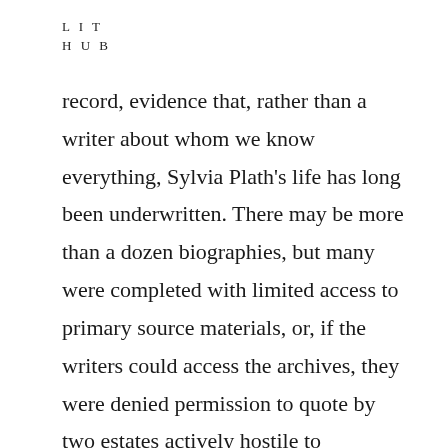L I T
H U B
record, evidence that, rather than a writer about whom we know everything, Sylvia Plath's life has long been underwritten. There may be more than a dozen biographies, but many were completed with limited access to primary source materials, or, if the writers could access the archives, they were denied permission to quote by two estates actively hostile to biographers. Stevenson's 1989 Bitter Fame was the single biography written with the cooperation of Ted Hughes and his sister, Olwyn, who acted then as literary agent and executor of the Plath estate. The result was a book so openly hostile to